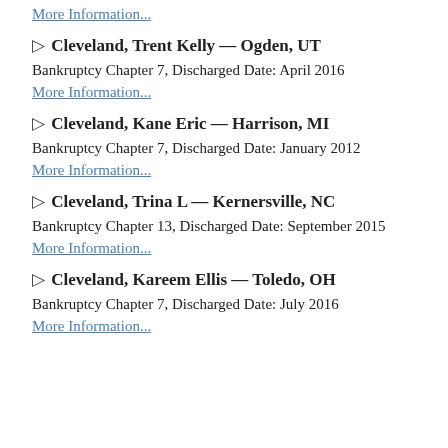More Information...
▷ Cleveland, Trent Kelly — Ogden, UT
Bankruptcy Chapter 7, Discharged Date: April 2016
More Information...
▷ Cleveland, Kane Eric — Harrison, MI
Bankruptcy Chapter 7, Discharged Date: January 2012
More Information...
▷ Cleveland, Trina L — Kernersville, NC
Bankruptcy Chapter 13, Discharged Date: September 2015
More Information...
▷ Cleveland, Kareem Ellis — Toledo, OH
Bankruptcy Chapter 7, Discharged Date: July 2016
More Information...